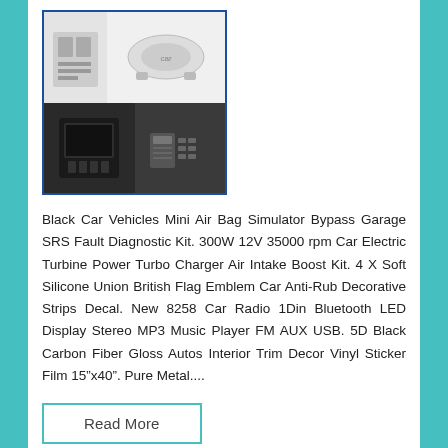[Figure (photo): Product image showing car accessories including a mini air bag simulator bypass kit with diagrams and hardware components, displayed in a 2x2 grid layout]
Black Car Vehicles Mini Air Bag Simulator Bypass Garage SRS Fault Diagnostic Kit. 300W 12V 35000 rpm Car Electric Turbine Power Turbo Charger Air Intake Boost Kit. 4 X Soft Silicone Union British Flag Emblem Car Anti-Rub Decorative Strips Decal. New 8258 Car Radio 1Din Bluetooth LED Display Stereo MP3 Music Player FM AUX USB. 5D Black Carbon Fiber Gloss Autos Interior Trim Decor Vinyl Sticker Film 15″x40″. Pure Metal....
Read More
7 1080P TOUCH SCREEN OCTA-CORE 4GB RAM 32GB ROM CAR STEREO RADIO GPS